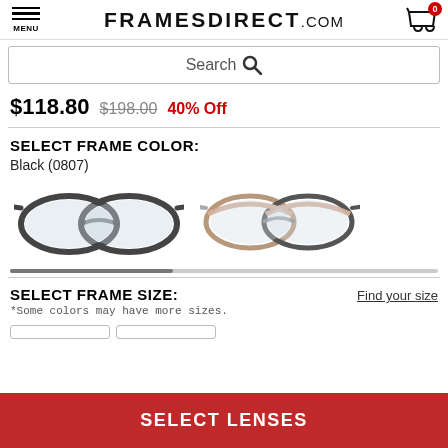MENU | FRAMESDIRECT.COM | Cart: 0
Search
$118.80  $198.00  40% Off
SELECT FRAME COLOR:
Black (0807)
[Figure (photo): Two pairs of eyeglasses shown: left pair is dark/black framed, right pair has a lighter brownish-pink frame. Both are similar cat-eye/rectangular style.]
SELECT FRAME SIZE:
Find your size
*Some colors may have more sizes.
SELECT LENSES